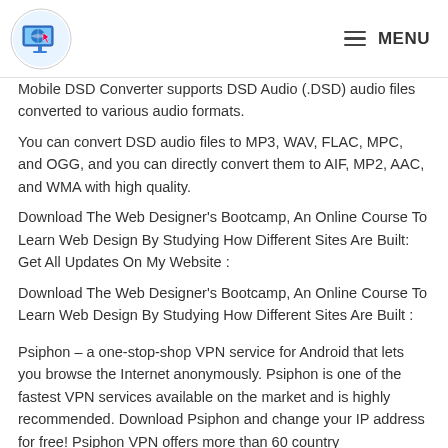MENU
Mobile DSD Converter supports DSD Audio (.DSD) audio files converted to various audio formats.
You can convert DSD audio files to MP3, WAV, FLAC, MPC, and OGG, and you can directly convert them to AIF, MP2, AAC, and WMA with high quality.
Download The Web Designer's Bootcamp, An Online Course To Learn Web Design By Studying How Different Sites Are Built: Get All Updates On My Website :
Download The Web Designer's Bootcamp, An Online Course To Learn Web Design By Studying How Different Sites Are Built :
Psiphon – a one-stop-shop VPN service for Android that lets you browse the Internet anonymously. Psiphon is one of the fastest VPN services available on the market and is highly recommended. Download Psiphon and change your IP address for free! Psiphon VPN offers more than 60 country